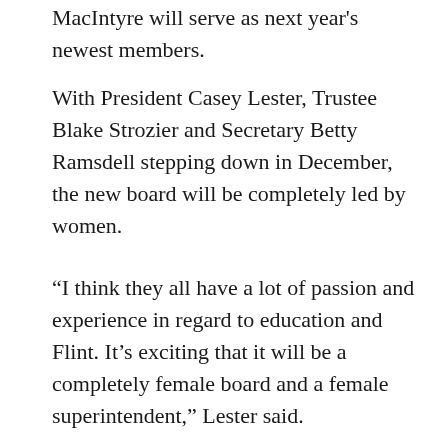MacIntyre will serve as next year's newest members.
With President Casey Lester, Trustee Blake Strozier and Secretary Betty Ramsdell stepping down in December, the new board will be completely led by women.
“I think they all have a lot of passion and experience in regard to education and Flint. It’s exciting that it will be a completely female board and a female superintendent,” Lester said.